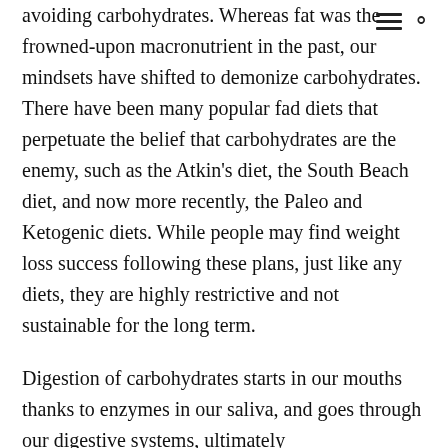avoiding carbohydrates. Whereas fat was the frowned-upon macronutrient in the past, our mindsets have shifted to demonize carbohydrates. There have been many popular fad diets that perpetuate the belief that carbohydrates are the enemy, such as the Atkin's diet, the South Beach diet, and now more recently, the Paleo and Ketogenic diets. While people may find weight loss success following these plans, just like any diets, they are highly restrictive and not sustainable for the long term.
Digestion of carbohydrates starts in our mouths thanks to enzymes in our saliva, and goes through our digestive systems, ultimately